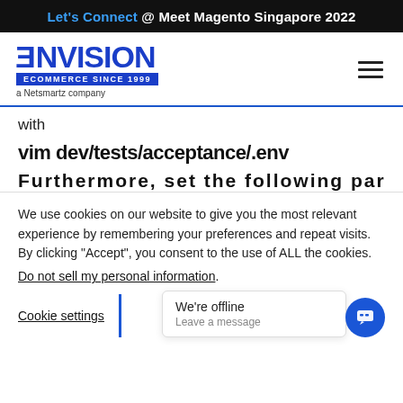Let's Connect @ Meet Magento Singapore 2022
[Figure (logo): Envision Ecommerce Since 1999 - a Netsmartz company logo]
with
vim dev/tests/acceptance/.env
Furthermore, set the following parameters
We use cookies on our website to give you the most relevant experience by remembering your preferences and repeat visits. By clicking “Accept”, you consent to the use of ALL the cookies.
Do not sell my personal information.
Cookie settings
We're offline
Leave a message